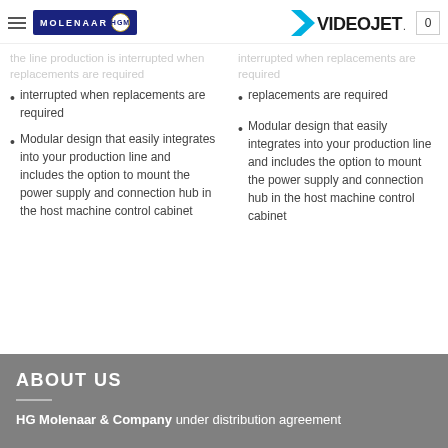Molenaar HGM | Videojet
interrupted when replacements are required
Modular design that easily integrates into your production line and includes the option to mount the power supply and connection hub in the host machine control cabinet
interrupted when replacements are required
Modular design that easily integrates into your production line and includes the option to mount the power supply and connection hub in the host machine control cabinet
ABOUT US
HG Molenaar & Company under distribution agreement